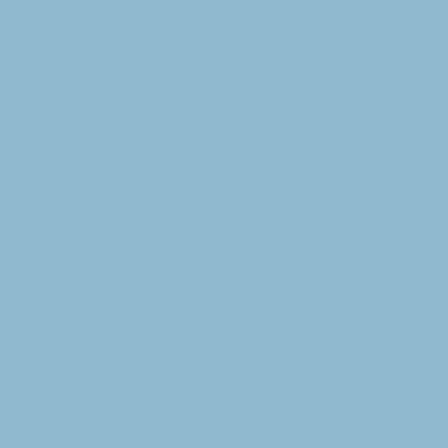APGA, who spearheaded the effort, Tom Sweeney hoped to spare the establish its own training standard accreditation program. Messina a Unfortunately, the competency ba ignored by the Academy Chairs a was resurrected again by Messina Messina, 1987).
Since its inception in 1976 and its (APGA/AACD), AMHCA has grow private practice, over 1,800 in pub universities, colleges, and commu the Academy began certifying Clin become certified CCMHC's. There Clinical Mental Health Counselor b but it has not as yet been recogni an amendment of the Public Heal Counseling as a core profession w the AMHCA/ACADEMY effort to e
How the Orl
One way to assist AMHCA in its e Counseling was to complete the ta standard for training and the clini 1991 in a meeting of the variou